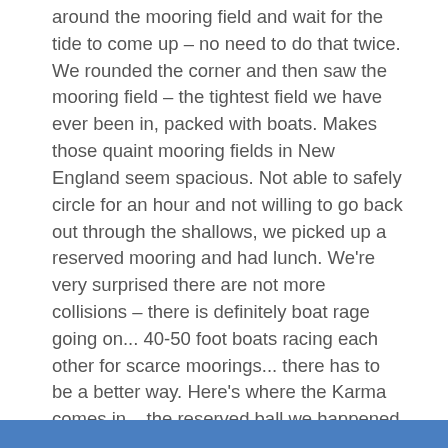around the mooring field and wait for the tide to come up – no need to do that twice.  We rounded the corner and then saw the mooring field – the tightest field we have ever been in, packed with boats. Makes those quaint mooring fields in New England seem spacious.  Not able to safely circle for an hour and not willing to go back out through the shallows, we picked up a reserved mooring and had lunch.  We're very surprised there are not more collisions – there is definitely boat rage going on... 40-50 foot boats racing each other for scarce moorings... there has to be a better way.  Here's where the Karma comes in... the reserved ball we happened to pick up had a phone number on it.  We called the phone number, a person picked up and said that his reservation was over yesterday and we were welcome to the mooring... : ) We broke out the cocktails and started to settle in.